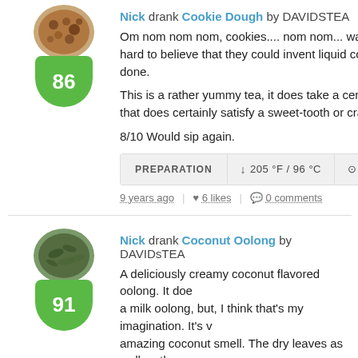Nick drank Cookie Dough by DAVIDSTEA
Om nom nom nom, cookies.... nom nom... wait... th hard to believe that they could invent liquid cookie d done.
This is a rather yummy tea, it does take a certain m that does certainly satisfy a sweet-tooth or craving f
8/10 Would sip again.
PREPARATION  ↓ 205 °F / 96 °C  ⊙ 5 MIN, 30 SEC
9 years ago  |  ♥ 6 likes  |  ● 0 comments
Nick drank Coconut Oolong by DAVIDsTEA
A deliciously creamy coconut flavored oolong. It doe a milk oolong, but, I think that's my imagination. It's amazing coconut smell. The dry leaves as well as th